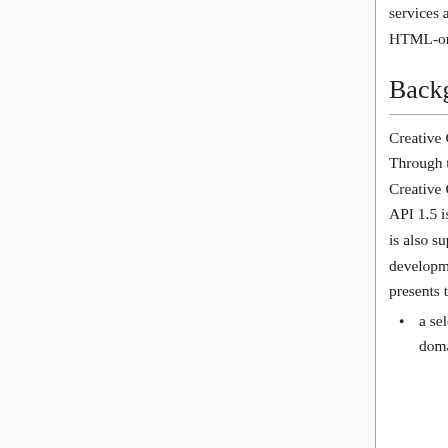services are designed to be a more flexible replacement for the HTML-only partner interface.
Background
Creative Commons provides a REST web service interfaces. Through the CC web service API, you can generate any of the Creative Commons licenses, including Sampling. The web services API 1.5 is frozen and can be considered stable. A development API is also supported, where new features are prototyped. The development API should not be considered stable. The API presents the following layers of abstraction:
a selection of license "classes" available (standard, public domain,